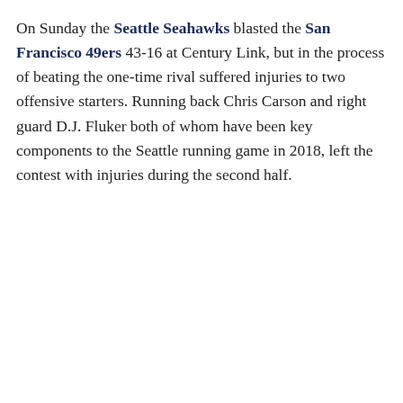On Sunday the Seattle Seahawks blasted the San Francisco 49ers 43-16 at Century Link, but in the process of beating the one-time rival suffered injuries to two offensive starters. Running back Chris Carson and right guard D.J. Fluker both of whom have been key components to the Seattle running game in 2018, left the contest with injuries during the second half.